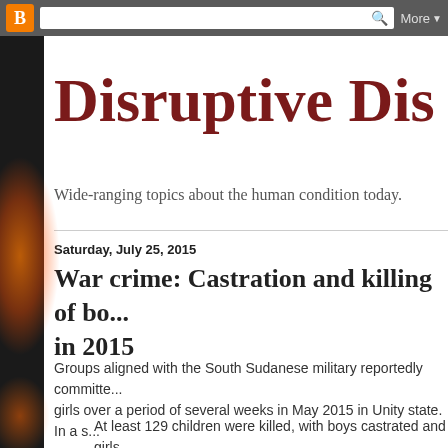Blogger | More ▼
Disruptive Dis
Wide-ranging topics about the human condition today.
Saturday, July 25, 2015
War crime: Castration and killing of bo... in 2015
Groups aligned with the South Sudanese military reportedly committe... girls over a period of several weeks in May 2015 in Unity state. In a s...
At least 129 children were killed, with boys castrated and girls... offensive against rebels last month in South Sudan, according...